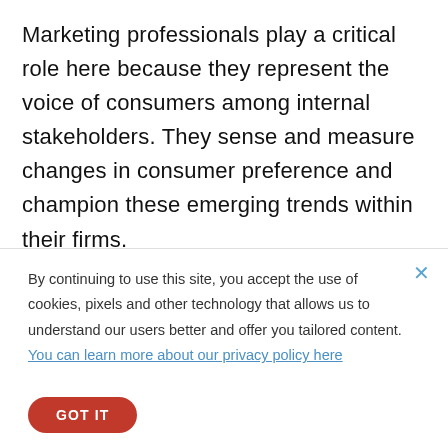Marketing professionals play a critical role here because they represent the voice of consumers among internal stakeholders. They sense and measure changes in consumer preference and champion these emerging trends within their firms.
By continuing to use this site, you accept the use of cookies, pixels and other technology that allows us to understand our users better and offer you tailored content. You can learn more about our privacy policy here